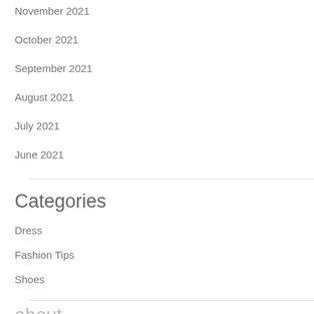November 2021
October 2021
September 2021
August 2021
July 2021
June 2021
Categories
Dress
Fashion Tips
Shoes
about